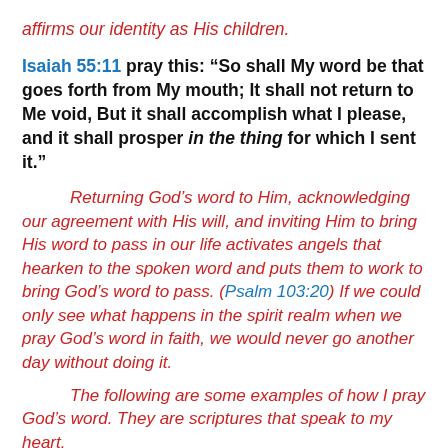affirms our identity as His children.
Isaiah 55:11 pray this: “So shall My word be that goes forth from My mouth; It shall not return to Me void, But it shall accomplish what I please, and it shall prosper in the thing for which I sent it.”
Returning God’s word to Him, acknowledging our agreement with His will, and inviting Him to bring His word to pass in our life activates angels that hearken to the spoken word and puts them to work to bring God’s word to pass. (Psalm 103:20) If we could only see what happens in the spirit realm when we pray God’s word in faith, we would never go another day without doing it.
The following are some examples of how I pray God’s word. They are scriptures that speak to my heart.